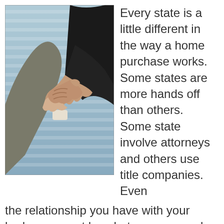[Figure (photo): Two people in business attire shaking hands, with venetian blinds visible in the background. One person wearing a grey suit, the other in a dark jacket.]
Every state is a little different in the way a home purchase works. Some states are more hands off than others. Some state involve attorneys and others use title companies. Even the relationship you have with your broker may not be what you are used to. Many areas use different terms for the same process. Even if you have bought and sold multiple properties you can feel like a fish out of water